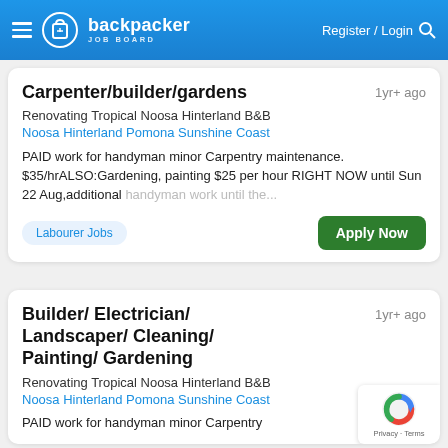backpacker JOB BOARD | Register / Login
Carpenter/builder/gardens | 1yr+ ago | Renovating Tropical Noosa Hinterland B&B | Noosa Hinterland Pomona Sunshine Coast | PAID work for handyman minor Carpentry maintenance. $35/hrALSO:Gardening, painting $25 per hour RIGHT NOW until Sun 22 Aug,additional handyman work until the... | Labourer Jobs | Apply Now
Builder/ Electrician/ Landscaper/ Cleaning/ Painting/ Gardening | 1yr+ ago | Renovating Tropical Noosa Hinterland B&B | Noosa Hinterland Pomona Sunshine Coast | PAID work for handyman minor Carpentry